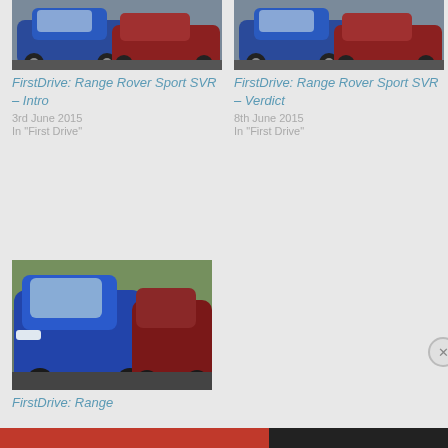[Figure (photo): Top-left: Blue and red SUV cars parked (Range Rover Sport SVR)]
FirstDrive: Range Rover Sport SVR – Intro
3rd June 2015
In "First Drive"
[Figure (photo): Top-right: Blue and red SUV cars parked (Range Rover Sport SVR)]
FirstDrive: Range Rover Sport SVR – Verdict
8th June 2015
In "First Drive"
[Figure (photo): Bottom-left: Blue Range Rover Sport SVR parked next to a red vehicle, front-angled view]
FirstDrive: Range
Privacy & Cookies: This site uses cookies. By continuing to use this website, you agree to their use.
To find out more, including how to control cookies, see here: Cookie Policy
Close and accept